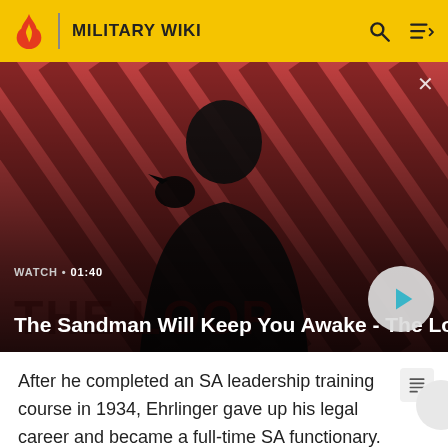MILITARY WIKI
[Figure (screenshot): Video thumbnail showing a dark-cloaked figure with a raven on shoulder against a red diagonal-striped background. Title text 'THE LOOP' visible. Watch duration 01:40 shown. Title: The Sandman Will Keep You Awake - The Loop]
After he completed an SA leadership training course in 1934, Ehrlinger gave up his legal career and became a full-time SA functionary. He was the leader of an SA sport school at Rieneck Castle and then a "Training Chief" ("Chef